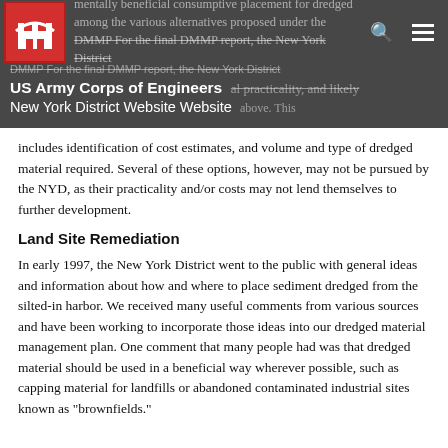US Army Corps of Engineers New York District Website Website
includes identification of cost estimates, and volume and type of dredged material required. Several of these options, however, may not be pursued by the NYD, as their practicality and/or costs may not lend themselves to further development.
Land Site Remediation
In early 1997, the New York District went to the public with general ideas and information about how and where to place sediment dredged from the silted-in harbor. We received many useful comments from various sources and have been working to incorporate those ideas into our dredged material management plan. One comment that many people had was that dredged material should be used in a beneficial way wherever possible, such as capping material for landfills or abandoned contaminated industrial sites known as "brownfields."